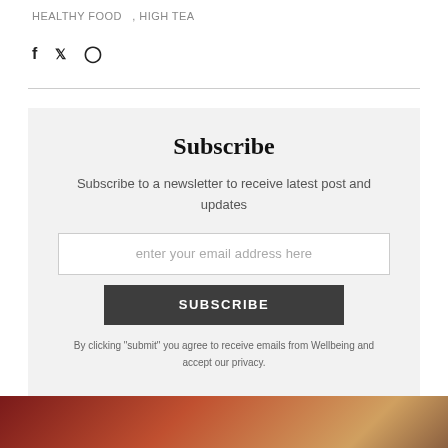HEALTHY FOOD   ,  HIGH TEA
f  🐦  ⊕
Subscribe
Subscribe to a newsletter to receive latest post and updates
enter your email address here
SUBSCRIBE
By clicking "submit" you agree to receive emails from Wellbeing and accept our privacy.